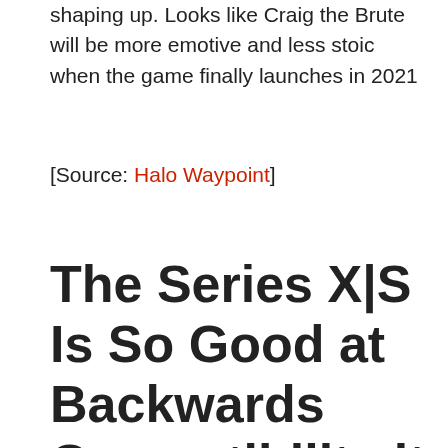shaping up. Looks like Craig the Brute will be more emotive and less stoic when the game finally launches in 2021
[Source: Halo Waypoint]
The Series X|S Is So Good at Backwards Compatibility it Transcends Platforms